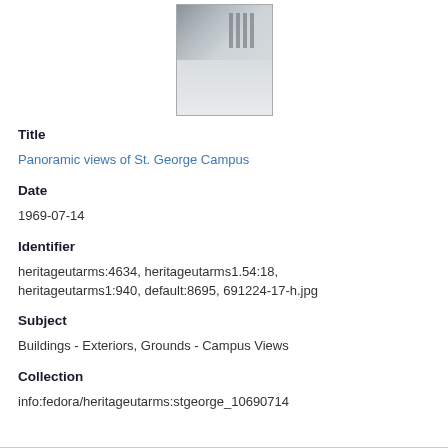[Figure (photo): Thumbnail image of a panoramic campus view, grayscale/sepia, showing building structures and roofline against sky]
Title
Panoramic views of St. George Campus
Date
1969-07-14
Identifier
heritageutarms:4634, heritageutarms1.54:18, heritageutarms1:940, default:8695, 691224-17-h.jpg
Subject
Buildings - Exteriors, Grounds - Campus Views
Collection
info:fedora/heritageutarms:stgeorge_10690714